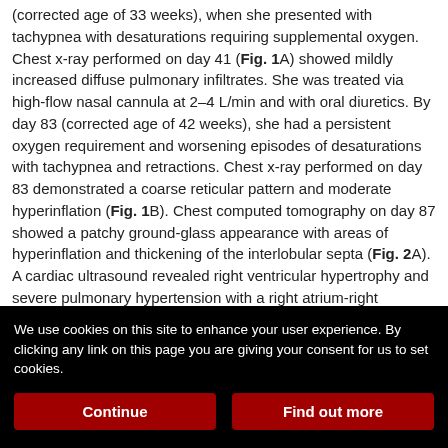(corrected age of 33 weeks), when she presented with tachypnea with desaturations requiring supplemental oxygen. Chest x-ray performed on day 41 (Fig. 1A) showed mildly increased diffuse pulmonary infiltrates. She was treated via high-flow nasal cannula at 2–4 L/min and with oral diuretics. By day 83 (corrected age of 42 weeks), she had a persistent oxygen requirement and worsening episodes of desaturations with tachypnea and retractions. Chest x-ray performed on day 83 demonstrated a coarse reticular pattern and moderate hyperinflation (Fig. 1B). Chest computed tomography on day 87 showed a patchy ground-glass appearance with areas of hyperinflation and thickening of the interlobular septa (Fig. 2A). A cardiac ultrasound revealed right ventricular hypertrophy and severe pulmonary hypertension with a right atrium-right ventricle gradient of
We use cookies on this site to enhance your user experience. By clicking any link on this page you are giving your consent for us to set cookies.